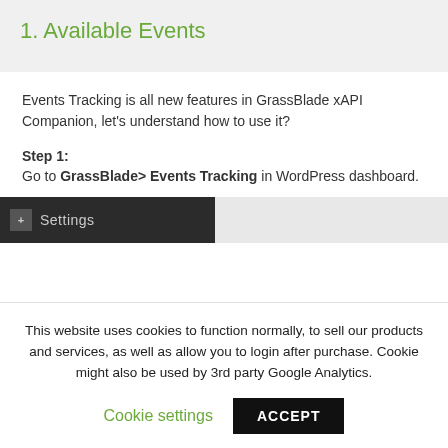1. Available Events
Events Tracking is all new features in GrassBlade xAPI Companion, let’s understand how to use it?
Step 1:
Go to GrassBlade> Events Tracking in WordPress dashboard.
[Figure (screenshot): Dark WordPress admin sidebar with a settings icon and 'Settings' label, followed by a light gray area]
This website uses cookies to function normally, to sell our products and services, as well as allow you to login after purchase. Cookie might also be used by 3rd party Google Analytics.
Cookie settings   ACCEPT